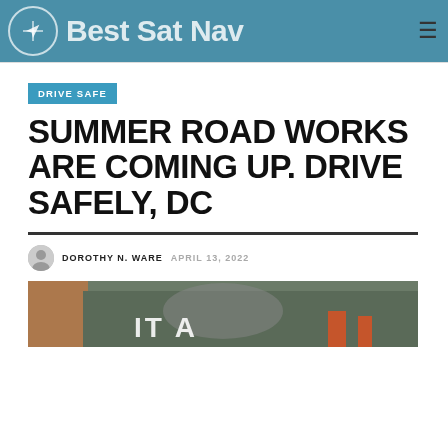Best Sat Nav
DRIVE SAFE
SUMMER ROAD WORKS ARE COMING UP. DRIVE SAFELY, DC
DOROTHY N. WARE  APRIL 13, 2022
[Figure (photo): Photo of a road works scene with a person in the foreground, construction cones visible, text overlay reading 'IT A']